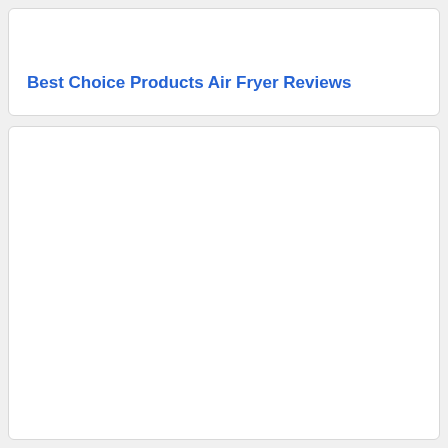Best Choice Products Air Fryer Reviews
[Figure (other): Empty white card placeholder below the title card]